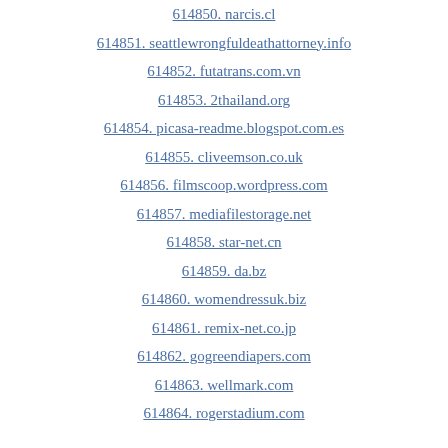614850. narcis.cl
614851. seattlewrongfuldeathattorney.info
614852. futatrans.com.vn
614853. 2thailand.org
614854. picasa-readme.blogspot.com.es
614855. cliveemson.co.uk
614856. filmscoop.wordpress.com
614857. mediafilestorage.net
614858. star-net.cn
614859. da.bz
614860. womendressuk.biz
614861. remix-net.co.jp
614862. gogreendiapers.com
614863. wellmark.com
614864. rogerstadium.com